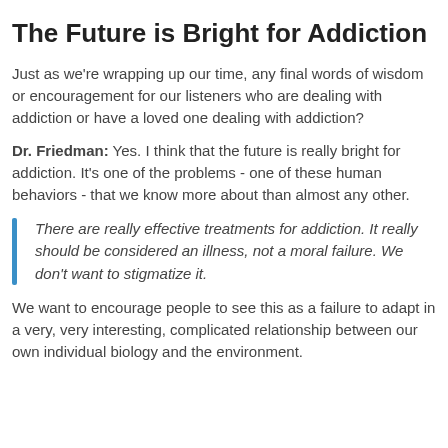The Future is Bright for Addiction
Just as we're wrapping up our time, any final words of wisdom or encouragement for our listeners who are dealing with addiction or have a loved one dealing with addiction?
Dr. Friedman: Yes. I think that the future is really bright for addiction. It's one of the problems - one of these human behaviors - that we know more about than almost any other.
There are really effective treatments for addiction. It really should be considered an illness, not a moral failure. We don't want to stigmatize it.
We want to encourage people to see this as a failure to adapt in a very, very interesting, complicated relationship between our own individual biology and the environment.